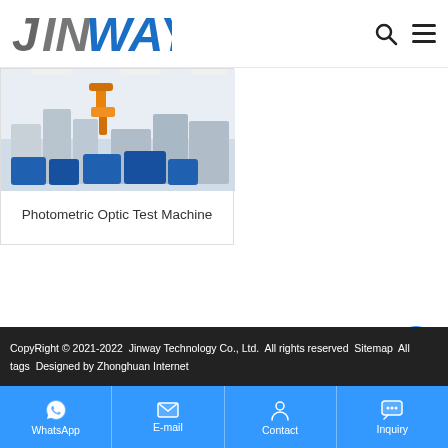[Figure (logo): Jinway company logo in italic bold style, 'JIN' in grey and 'WAY' in blue]
[Figure (photo): Industrial automation factory floor with robotic arm and blue equipment]
Photometric Optic Test Machine
CopyRight © 2021-2022  Jinway Technology Co., Ltd.  All rights reserved  Sitemap  All tags  Designed by Zhonghuan Internet
WhatsApp  E-mail  Contact  Inquiry